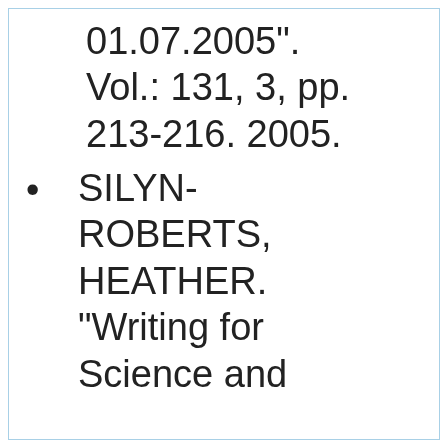01.07.2005". Vol.: 131, 3, pp. 213-216. 2005.
SILYN-ROBERTS, HEATHER. "Writing for Science and